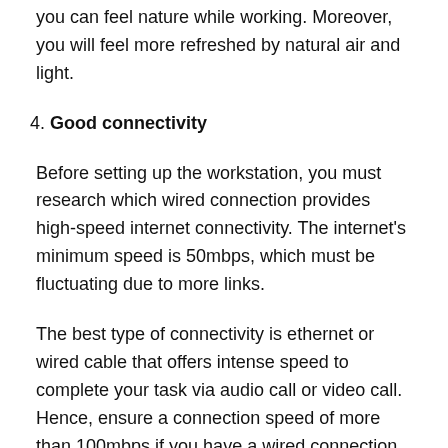you can feel nature while working. Moreover, you will feel more refreshed by natural air and light.
4. Good connectivity
Before setting up the workstation, you must research which wired connection provides high-speed internet connectivity. The internet's minimum speed is 50mbps, which must be fluctuating due to more links.
The best type of connectivity is ethernet or wired cable that offers intense speed to complete your task via audio call or video call. Hence, ensure a connection speed of more than 100mbps if you have a wired connection.
5. Separate your area
I had already asked to construct a door or set up a workstation